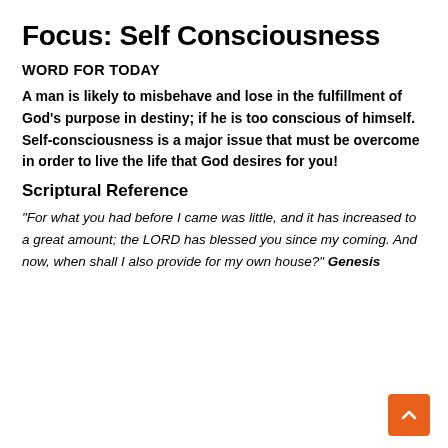Focus: Self Consciousness
WORD FOR TODAY
A man is likely to misbehave and lose in the fulfillment of God's purpose in destiny; if he is too conscious of himself. Self-consciousness is a major issue that must be overcome in order to live the life that God desires for you!
Scriptural Reference
“For what you had before I came was little, and it has increased to a great amount; the LORD has blessed you since my coming. And now, when shall I also provide for my own house?” Genesis